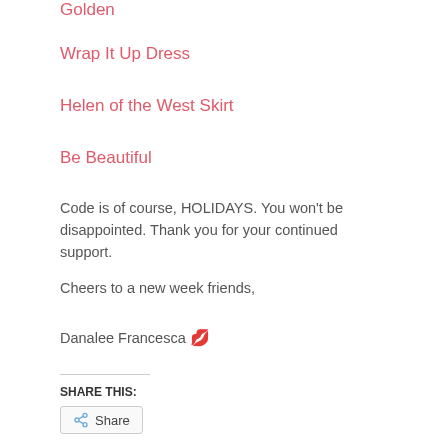Golden
Wrap It Up Dress
Helen of the West Skirt
Be Beautiful
Code is of course, HOLIDAYS. You won't be disappointed. Thank you for your continued support.
Cheers to a new week friends,
Danalee Francesca 💋
SHARE THIS:
Share